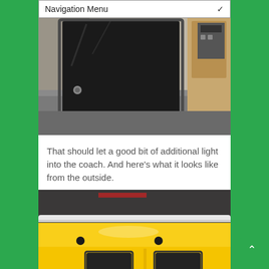Navigation Menu
[Figure (photo): Interior photo of a train coach showing an open sliding door with a large dark window/glass panel, grey carpeted floor, and wooden paneling on the right side]
That should let a good bit of additional light into the coach. And here's what it looks like from the outside.
[Figure (photo): Exterior photo of a yellow train coach showing the side of the vehicle with small rectangular windows and door panels]